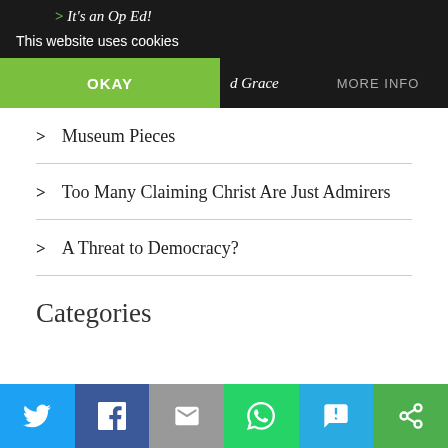It's an Op Ed!
This website uses cookies
Museum Pieces
Too Many Claiming Christ Are Just Admirers
A Threat to Democracy?
Categories